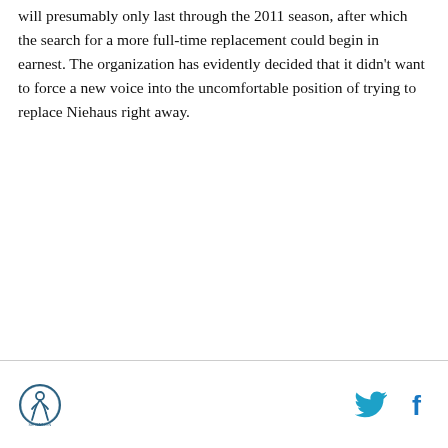will presumably only last through the 2011 season, after which the search for a more full-time replacement could begin in earnest. The organization has evidently decided that it didn't want to force a new voice into the uncomfortable position of trying to replace Niehaus right away.
[Figure (logo): Circular logo with a figure inside, outlined in dark teal/navy]